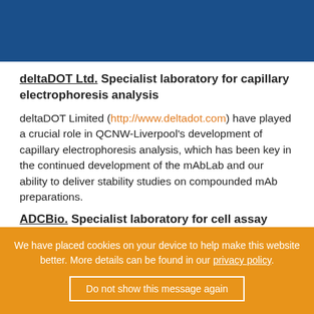[Figure (other): Dark blue header bar at the top of the page]
deltaDOT Ltd. Specialist laboratory for capillary electrophoresis analysis
deltaDOT Limited (http://www.deltadot.com) have played a crucial role in QCNW-Liverpool’s development of capillary electrophoresis analysis, which has been key in the continued development of the mAbLab and our ability to deliver stability studies on compounded mAb preparations.
ADCBio. Specialist laboratory for cell assay
ADCBio (http://www.adcbio.com) are specialists in the
We have placed cookies on your device to help make this website better. More details can be found in our privacy policy.
Do not show this message again